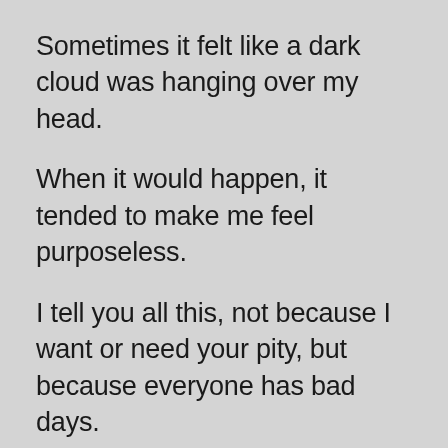Sometimes it felt like a dark cloud was hanging over my head.
When it would happen, it tended to make me feel purposeless.
I tell you all this, not because I want or need your pity, but because everyone has bad days.
Everyone faces challenges... deep challenges.
And those of us who value and